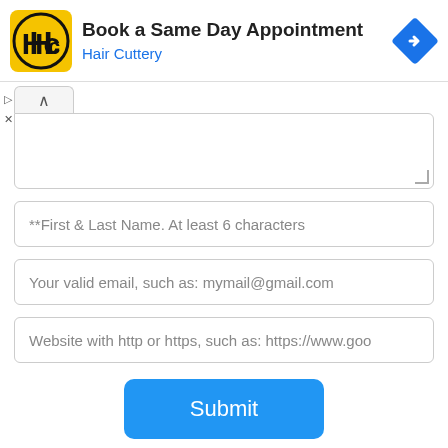[Figure (infographic): Hair Cuttery advertisement banner with logo (HC in yellow circle), title 'Book a Same Day Appointment', subtitle 'Hair Cuttery' in blue, and a blue diamond navigation arrow icon on the right.]
**First & Last Name. At least 6 characters
Your valid email, such as: mymail@gmail.com
Website with http or https, such as: https://www.goo
Submit